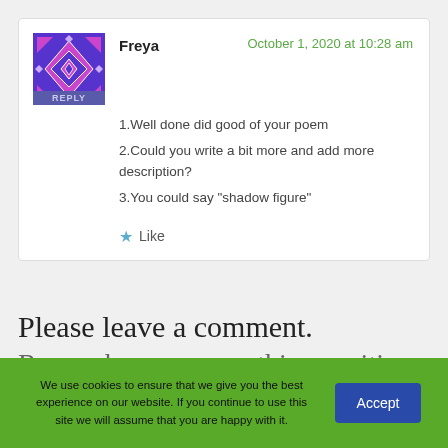Freya
October 1, 2020 at 10:28 am
1.Well done did good of your poem
2.Could you write a bit more and add more description?
3.You could say "shadow figure"
Like
Please leave a comment.
Remember, say something positive:
We use cookies to ensure that we give you the best experience on our website. If you continue to use this site we will assume that you are happy with it.